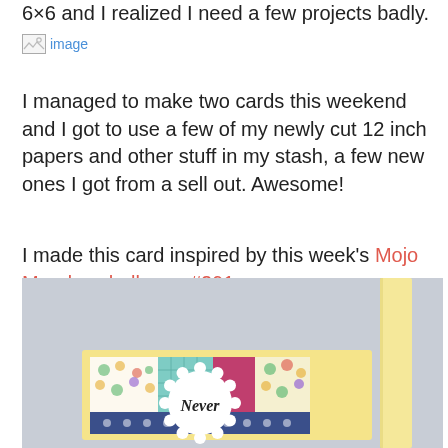6×6 and I realized I need a few projects badly.
[Figure (photo): Broken image placeholder]
I managed to make two cards this weekend and I got to use a few of my newly cut 12 inch papers and other stuff in my stash, a few new ones I got from a sell out. Awesome!
I made this card inspired by this week's Mojo Monday challenge #291
[Figure (photo): Photo of a handmade greeting card with colorful patterned paper panels (polka dots, plaid, solid colors) on a yellow card base, with a white scalloped circle embellishment and the word 'Never' in script]